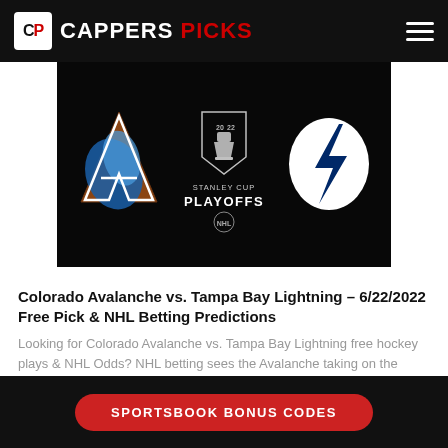CAPPERS PICKS
[Figure (illustration): Colorado Avalanche vs Tampa Bay Lightning Stanley Cup Playoffs 2022 promotional image on black background, showing Avalanche logo on left, Stanley Cup Playoffs 2022 trophy badge in center, Tampa Bay Lightning logo on right.]
Colorado Avalanche vs. Tampa Bay Lightning – 6/22/2022 Free Pick & NHL Betting Predictions
Looking for Colorado Avalanche vs. Tampa Bay Lightning free hockey plays & NHL Odds? NHL betting sees the Avalanche taking on the Lightning on Wedne ...
Read More
SPORTSBOOK BONUS CODES